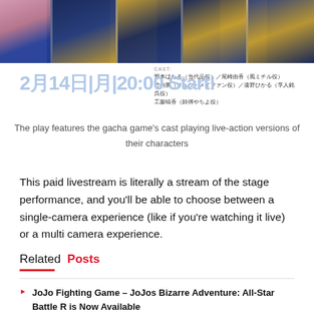[Figure (photo): Banner photo strip showing costumed performers in navy blue and gold costumes, with a person with pink hair on the left]
CAST:
野本ほたる（当代晶役）／尾崎由香（風ミチル役）
竹内夢（リュウ・メイファン役）／遠野ひかる（享人銘呉役）
工藤晴香（師傅やちよ役）
2月14日|月|20:00 Start!
The play features the gacha game's cast playing live-action versions of their characters
This paid livestream is literally a stream of the stage performance, and you'll be able to choose between a single-camera experience (like if you're watching it live) or a multi camera experience.
Related Posts
JoJo Fighting Game – JoJos Bizarre Adventure: All-Star Battle R is Now Available
Square Enix Launches Tokyo Game Show 2022 Website With Lineup and Stream Schedule